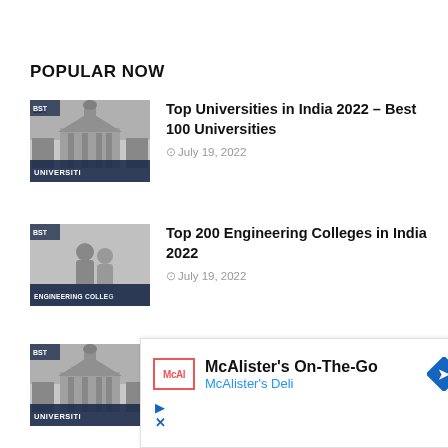POPULAR NOW
Top Universities in India 2022 – Best 100 Universities
July 19, 2022
Top 200 Engineering Colleges in India 2022
July 19, 2022
Top Universities in India 2022 – Best 100 Universities
July 19, 2022
[Figure (infographic): McAlister's On-The-Go advertisement banner with McAlister's Deli logo, navigation arrow icon, and play/close controls]